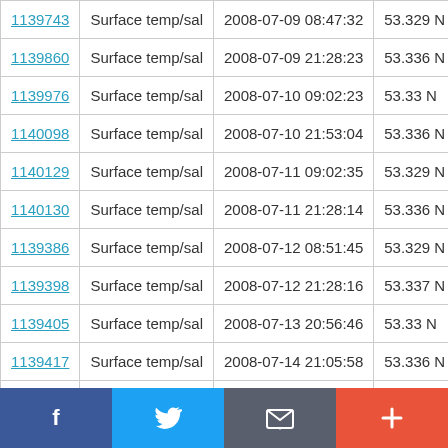| ID | Type | Date/Time | Value |
| --- | --- | --- | --- |
| 1139743 | Surface temp/sal | 2008-07-09 08:47:32 | 53.329 N |
| 1139860 | Surface temp/sal | 2008-07-09 21:28:23 | 53.336 N |
| 1139976 | Surface temp/sal | 2008-07-10 09:02:23 | 53.33 N |
| 1140098 | Surface temp/sal | 2008-07-10 21:53:04 | 53.336 N |
| 1140129 | Surface temp/sal | 2008-07-11 09:02:35 | 53.329 N |
| 1140130 | Surface temp/sal | 2008-07-11 21:28:14 | 53.336 N |
| 1139386 | Surface temp/sal | 2008-07-12 08:51:45 | 53.329 N |
| 1139398 | Surface temp/sal | 2008-07-12 21:28:16 | 53.337 N |
| 1139405 | Surface temp/sal | 2008-07-13 20:56:46 | 53.33 N |
| 1139417 | Surface temp/sal | 2008-07-14 21:05:58 | 53.336 N |
[Figure (infographic): Social sharing bar with Facebook, Twitter, email, and add/plus buttons]